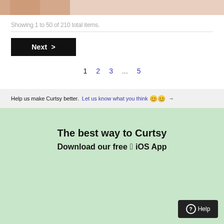[Figure (photo): Partial view of a person's lower body, cropped at the top of the page]
Showing 1 to 50 of 210 total items.
Next >
1  2  3  ...  5
Help us make Curtsy better. Let us know what you think 😊😊 →
The best way to Curtsy
Download our free  iOS App
? Help